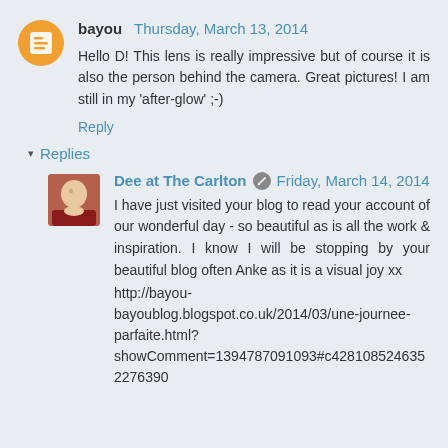bayou  Thursday, March 13, 2014
Hello D! This lens is really impressive but of course it is also the person behind the camera. Great pictures! I am still in my 'after-glow' ;-)
Reply
▾ Replies
Dee at The Carlton  Friday, March 14, 2014
I have just visited your blog to read your account of our wonderful day - so beautiful as is all the work & inspiration. I know I will be stopping by your beautiful blog often Anke as it is a visual joy xx
http://bayou-bayoublog.blogspot.co.uk/2014/03/une-journee-parfaite.html?showComment=1394787091093#c4281085246352276390